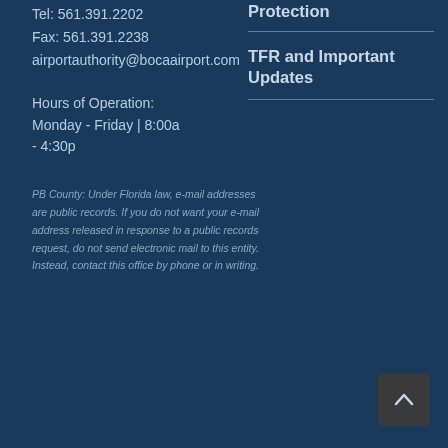Tel: 561.391.2202
Fax: 561.391.2238
airportauthority@bocaairport.com
Hours of Operation:
Monday - Friday | 8:00a - 4:30p
PB County: Under Florida law, e-mail addresses are public records. If you do not want your e-mail address released in response to a public records request, do not send electronic mail to this entity. Instead, contact this office by phone or in writing.
Protection
TFR and Important Updates